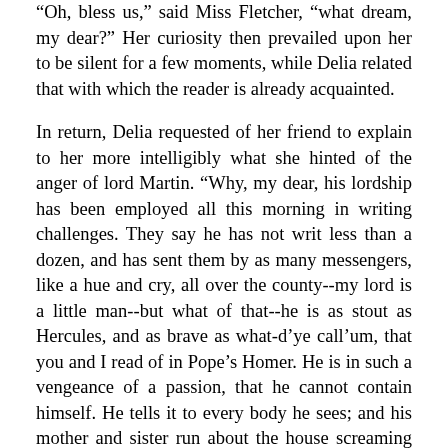"Oh, bless us," said Miss Fletcher, "what dream, my dear?" Her curiosity then prevailed upon her to be silent for a few moments, while Delia related that with which the reader is already acquainted.
In return, Delia requested of her friend to explain to her more intelligibly what she hinted of the anger of lord Martin. "Why, my dear, his lordship has been employed all this morning in writing challenges. They say he has not writ less than a dozen, and has sent them by as many messengers, like a hue and cry, all over the county--my lord is a little man--but what of that--he is as stout as Hercules, and as brave as what-d'ye call'um, that you and I read of in Pope's Homer. He is in such a vengeance of a passion, that he cannot contain himself. He tells it to every body he sees; and his mother and sister run about the house screaming and fainting like so many mad things."
Delia, as we have already said, was endowed with a competent share of natural understanding. She therefore easily perceived, that from an anger so boisterous and so public, no very fatal effects were to be apprehended. This reflection quieted the terrors that her dream had excited, and which the young partiality she began to feel for the amiable stranger would otherwise have confirmed. Her breast being thus calmed, she made about half a dozen morning visits, among which, one to Miss Griskin, and another to Miss